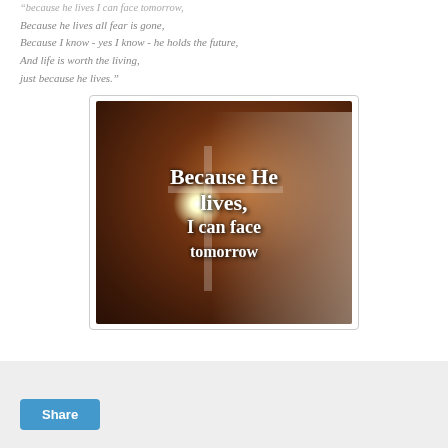Because he lives all fear is gone,
Because I know - yes I know - he holds the future,
And life is worth the living,
just because he lives.”
[Figure (illustration): Religious inspirational image showing Jesus Christ figure with a cross and bright glowing light, with white text overlay reading 'Because He lives, I can face tomorrow']
Share